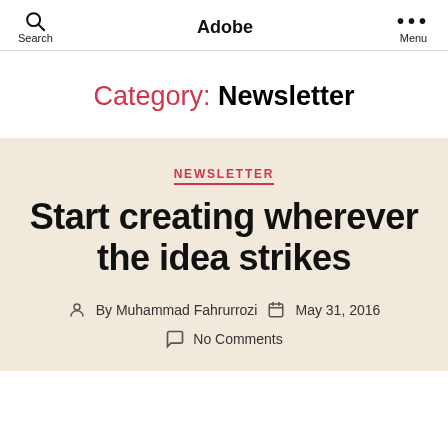Adobe
Category: Newsletter
NEWSLETTER
Start creating wherever the idea strikes
By Muhammad Fahrurrozi   May 31, 2016
No Comments